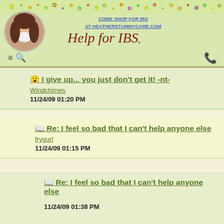COME SHOP FOR IBS AT HEATHERSTUMMYCARE.COM
Help for IBS
😮 I give up... you just don't get it! -nt-
Windchimes
11/24/09 01:20 PM
📖 Re: I feel so bad that I can't help anyone else
frygurl
11/24/09 01:15 PM
📖 Re: I feel so bad that I can't help anyone else
11/24/09 01:38 PM